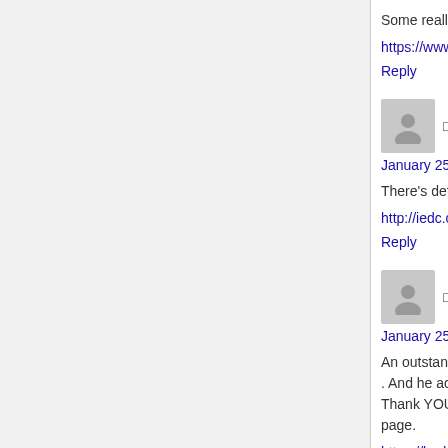Some really excellent blog posts on this internet
https://www.whiteglovedeliveryexperts.com/
Reply
□□□□□ says:
January 25, 2021 at 2:35 pm
There's definately a lot to learn about this issue.
http://iedc.com/helix3/index.php?option=com_k2
Reply
□□□□ says:
January 25, 2021 at 2:44 pm
An outstanding share! I have just forwarded this. And he actually bought me breakfast because Thank YOU for the meal!! But yeah, thanx for spending time to discuss this topic here on your page.
https://badgecough3.bladejournal.com/post/202
Reply